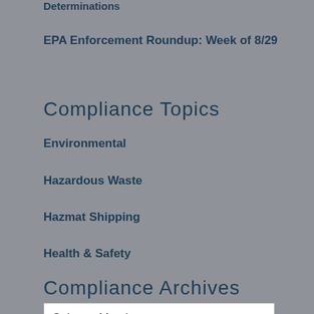Determinations
EPA Enforcement Roundup: Week of 8/29
Compliance Topics
Environmental
Hazardous Waste
Hazmat Shipping
Health & Safety
Compliance Archives
Select a Month